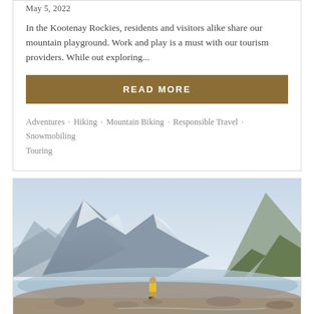May 5, 2022
In the Kootenay Rockies, residents and visitors alike share our mountain playground. Work and play is a must with our tourism providers. While out exploring...
READ MORE
Adventures · Hiking · Mountain Biking · Responsible Travel · Snowmobiling Touring
[Figure (photo): Person in yellow jacket standing on rocky shoreline with a glacial mountain lake, snow-capped peaks and mountains reflected in the water behind them]